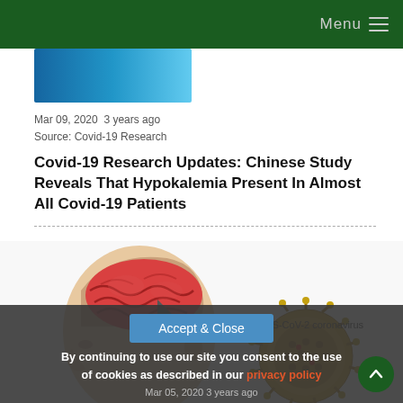Menu
[Figure (photo): Partial blue image strip at top of article content]
Mar 09, 2020  3 years ago
Source: Covid-19 Research
Covid-19 Research Updates: Chinese Study Reveals That Hypokalemia Present In Almost All Covid-19 Patients
[Figure (illustration): Medical illustration showing a cross-section of a human head with an exposed brain alongside a circular diagram of the SARS-CoV-2 coronavirus particle labeled 'SARS-CoV-2 coronavirus']
By continuing to use our site you consent to the use of cookies as described in our privacy policy
Mar 05, 2020  3 years ago